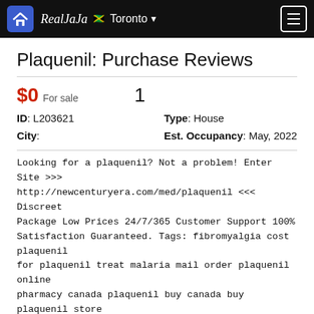RealJaJa Toronto
Plaquenil: Purchase Reviews
$0 For sale    1
ID: L203621    Type: House
City:    Est. Occupancy: May, 2022
Looking for a plaquenil? Not a problem! Enter Site >>> http://newcenturyera.com/med/plaquenil <<< Discreet Package Low Prices 24/7/365 Customer Support 100% Satisfaction Guaranteed. Tags: fibromyalgia cost plaquenil for plaquenil treat malaria mail order plaquenil online pharmacy canada plaquenil buy canada buy plaquenil store i am now taking plaquenil buy plaquenil usa where can i